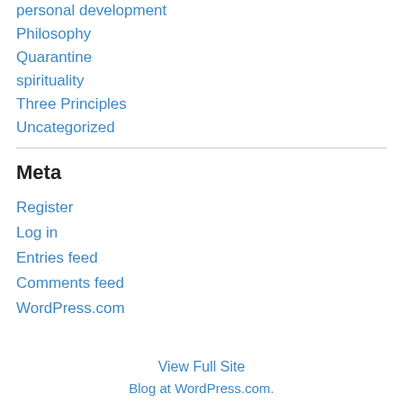personal development
Philosophy
Quarantine
spirituality
Three Principles
Uncategorized
Meta
Register
Log in
Entries feed
Comments feed
WordPress.com
View Full Site
Blog at WordPress.com.